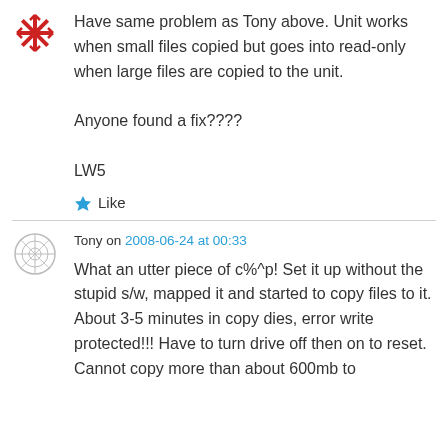[Figure (illustration): Red snowflake/asterisk avatar icon for first commenter]
Have same problem as Tony above. Unit works when small files copied but goes into read-only when large files are copied to the unit.

Anyone found a fix????

LW5
Like
[Figure (illustration): Grey circular pattern avatar icon for Tony]
Tony on 2008-06-24 at 00:33
What an utter piece of c%^p! Set it up without the stupid s/w, mapped it and started to copy files to it. About 3-5 minutes in copy dies, error write protected!!! Have to turn drive off then on to reset. Cannot copy more than about 600mb to